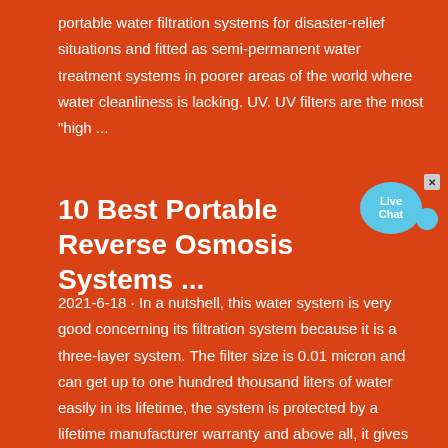portable water filtration systems for disaster-relief situations and fitted as semi-permanent water treatment systems in poorer areas of the world where water cleanliness is lacking. UV. UV filters are the most "high ...
10 Best Portable Reverse Osmosis Systems ...
2021-6-18 · In a nutshell, this water system is very good concerning its filtration system because it is a three-layer system. The filter size is 0.01 micron and can get up to one hundred thousand liters of water easily in its lifetime, the system is protected by a lifetime manufacturer warranty and above all, it gives you 99.999% bacteria free pure water.